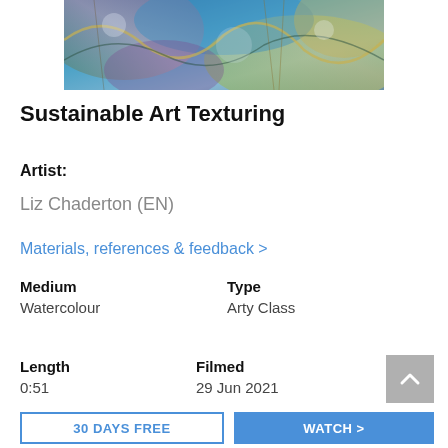[Figure (photo): Colorful abstract watercolour artwork with blue, green, purple and gold tones, showing flowing organic shapes and textures.]
Sustainable Art Texturing
Artist:
Liz Chaderton (EN)
Materials, references & feedback >
| Medium | Type |
| --- | --- |
| Watercolour | Arty Class |
| Length | Filmed |
| --- | --- |
| 0:51 | 29 Jun 2021 |
30 DAYS FREE
WATCH >